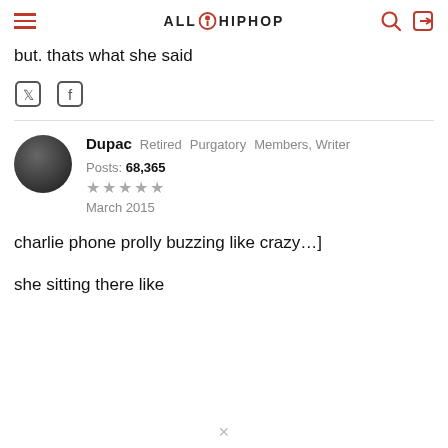ALL HIPHOP
but. thats what she said
Dupac  Retired  Purgatory  Members, Writer  Posts: 68,365  March 2015
charlie phone prolly buzzing like crazy...]
she sitting there like